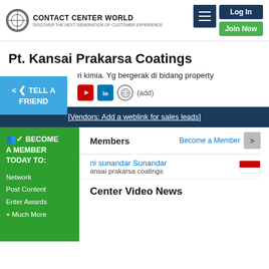Contact Center World — Log In | Join Now
Pt. Kansai Prakarsa Coatings
ri kimia. Yg bergerak di bidang property
[Vendors: Add a weblink for sales leads]
TELL A FRIEND
BECOME A MEMBER TODAY TO:
Network
Post Content
Enter Awards
+ Much More
Members
Become a Member
ni sunandar Sunandar
ansai prakarsa coatings
Center Video News